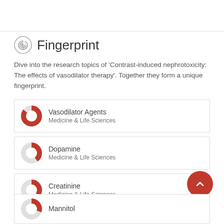Fingerprint
Dive into the research topics of 'Contrast-induced nephrotoxicity: The effects of vasodilator therapy'. Together they form a unique fingerprint.
[Figure (infographic): Donut chart for Vasodilator Agents - mostly filled red, Medicine & Life Sciences]
Vasodilator Agents
Medicine & Life Sciences
[Figure (infographic): Donut chart for Dopamine - about 40% filled red, Medicine & Life Sciences]
Dopamine
Medicine & Life Sciences
[Figure (infographic): Donut chart for Creatinine - about 35% filled red, Medicine & Life Sciences]
Creatinine
Medicine & Life Sciences
[Figure (infographic): Donut chart for Mannitol - partially filled red]
Mannitol